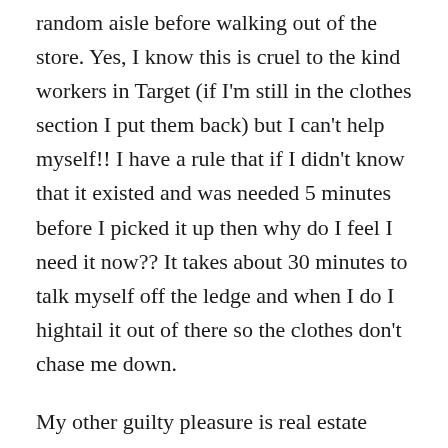random aisle before walking out of the store. Yes, I know this is cruel to the kind workers in Target (if I'm still in the clothes section I put them back) but I can't help myself!! I have a rule that if I didn't know that it existed and was needed 5 minutes before I picked it up then why do I feel I need it now?? It takes about 30 minutes to talk myself off the ledge and when I do I hightail it out of there so the clothes don't chase me down.
My other guilty pleasure is real estate which is so much easier to talk myself out of now that I have been broken by the ordeal. 7 years ago, if I could get a loan I got the property. Bad habit! Now I